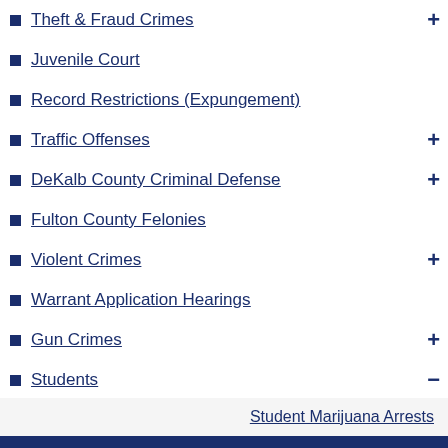Theft & Fraud Crimes
Juvenile Court
Record Restrictions (Expungement)
Traffic Offenses
DeKalb County Criminal Defense
Fulton County Felonies
Violent Crimes
Warrant Application Hearings
Gun Crimes
Students
Student Marijuana Arrests
Minor In Possession
Rape And College Sex Crimes